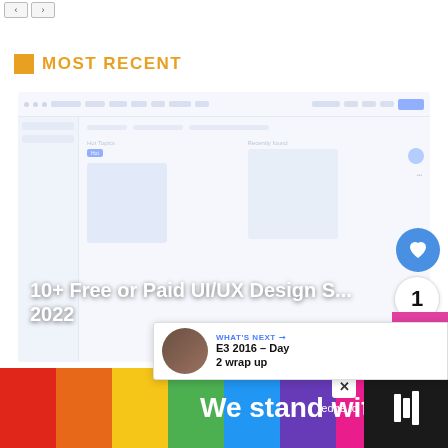< >
MOST RECENT
[Figure (screenshot): Screenshot of a UI/UX design software interface showing a dashboard with hot topics, recently found panels, sidebar navigation, toolbar, and image cards. A heart/like button (showing count of 1) and a pink up-arrow button are overlaid on the right edge. A 'What's Next' popup shows 'E3 2016 – Day 2 wrap up'. Card title reads '10+ Free or Paid UI/UX Design S... 2022']
10+ Free or Paid UI/UX Design S... 2022
WHAT'S NEXT → E3 2016 – Day 2 wrap up
[Figure (infographic): Rainbow colored 'We stand with you.' advertisement banner on black background with a close button (X) and a logo on the right side reading 'iedge to'. Bottom ad bar.]